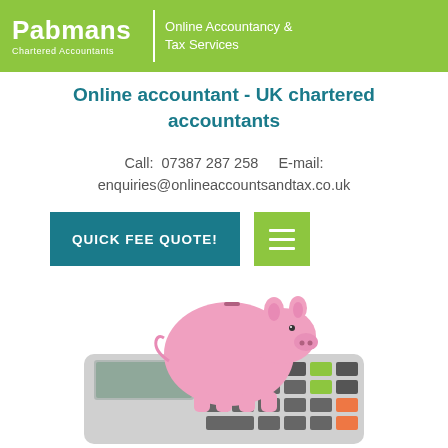[Figure (logo): Pabmans Chartered Accountants logo with green background and text 'Online Accountancy & Tax Services']
Online accountant - UK chartered accountants
Call:  07387 287 258     E-mail:
enquiries@onlineaccountsandtax.co.uk
QUICK FEE QUOTE!
[Figure (photo): Pink piggy bank sitting on top of a calculator, white background]